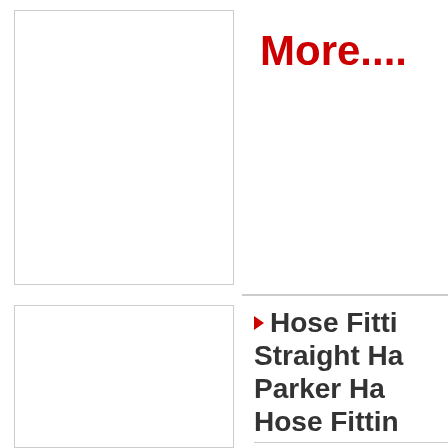[Figure (photo): Product image placeholder box, top row, left column — white rectangle with gray border]
More....
[Figure (photo): Product image placeholder box, bottom row, left column — white rectangle with gray border]
Hose Fitti... Straight Ha... Parker Ha... Hose Fittin...
USD 5.53